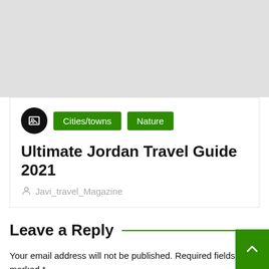[Figure (photo): Gray placeholder image area at the top of the page]
Cities/towns  Nature
Ultimate Jordan Travel Guide 2021
Javi_travel_Magazine
Leave a Reply
Your email address will not be published. Required fields are marked *